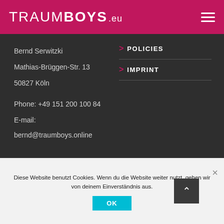TRAUMBOYS.eu
Bernd Serwitzki
Mathias-Brüggen-Str. 13
50827 Köln
Phone: +49 151 200 100 84
E-mail:
bernd@traumboys.online
> POLICIES
> IMPRINT
TAGS
Diese Website benutzt Cookies. Wenn du die Website weiter nutzt, gehen wir von deinem Einverständnis aus.